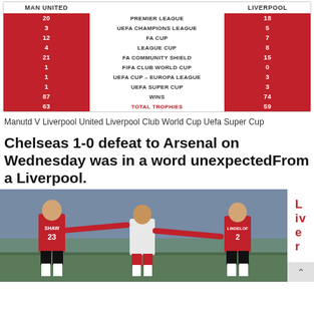| MAN UNITED |  | LIVERPOOL |
| --- | --- | --- |
| 20 | PREMIER LEAGUE | 18 |
| 3 | UEFA CHAMPIONS LEAGUE | 5 |
| 12 | FA CUP | 7 |
| 4 | LEAGUE CUP | 8 |
| 21 | FA COMMUNITY SHIELD | 15 |
| 1 | FIFA CLUB WORLD CUP | 0 |
| 1 | UEFA CUP – EUROPA LEAGUE | 3 |
| 1 | UEFA SUPER CUP | 3 |
| 87 | WINS | 74 |
| 63 | TOTAL TROPHIES | 59 |
Manutd V Liverpool United Liverpool Club World Cup Uefa Super Cup
Chelseas 1-0 defeat to Arsenal on Wednesday was in a word unexpectedFrom a Liverpool.
[Figure (photo): Football match photo showing players Shaw (23) and Lindelof (2) in red Man United shirts with a Liverpool player in white between them on the pitch]